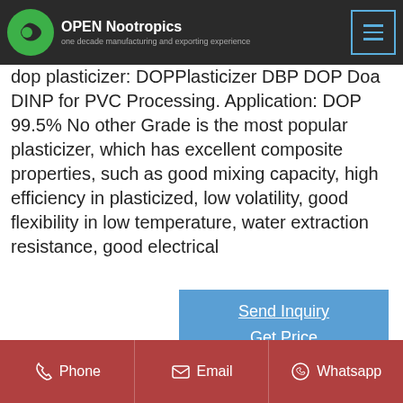OPEN Nootropics — one decade manufacturing and exporting experience
dop plasticizer: DOPPlasticizer DBP DOP Doa DINP for PVC Processing. Application: DOP 99.5% No other Grade is the most popular plasticizer, which has excellent composite properties, such as good mixing capacity, high efficiency in plasticized, low volatility, good flexibility in low temperature, water extraction resistance, good electrical
Send Inquiry
Get Price
[Figure (photo): Photo of a glass bottle/vial containing clear liquid DOP plasticizer with a red label]
DOP Plasticizer For PVC
Phone   Email   Whatsapp